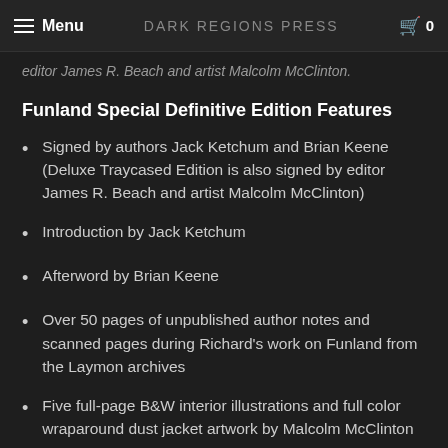Menu | Dark Regions Press | 0
editor James R. Beach and artist Malcolm McClinton.
Funland Special Definitive Edition Features
Signed by authors Jack Ketchum and Brian Keene (Deluxe Traycased Edition is also signed by editor James R. Beach and artist Malcolm McClinton)
Introduction by Jack Ketchum
Afterword by Brian Keene
Over 50 pages of unpublished author notes and scanned pages during Richard's work on Funland from the Laymon archives
Five full-page B&W interior illustrations and full color wraparound dust jacket artwork by Malcolm McClinton